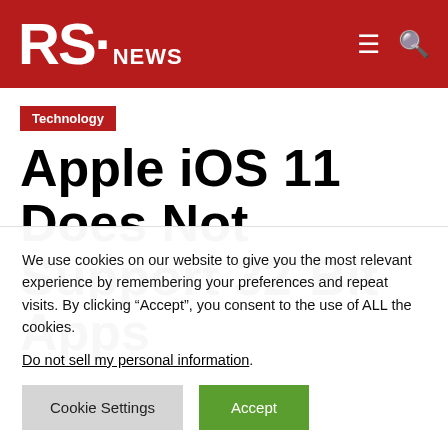RS-NEWS
Technology
Apple iOS 11 Does Not Support 32-Bit Apps
We use cookies on our website to give you the most relevant experience by remembering your preferences and repeat visits. By clicking “Accept”, you consent to the use of ALL the cookies.
Do not sell my personal information.